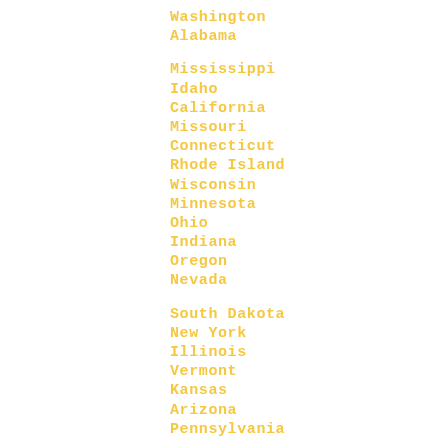Washington
Alabama
Mississippi
Idaho
California
Missouri
Connecticut
Rhode Island
Wisconsin
Minnesota
Ohio
Indiana
Oregon
Nevada
South Dakota
New York
Illinois
Vermont
Kansas
Arizona
Pennsylvania